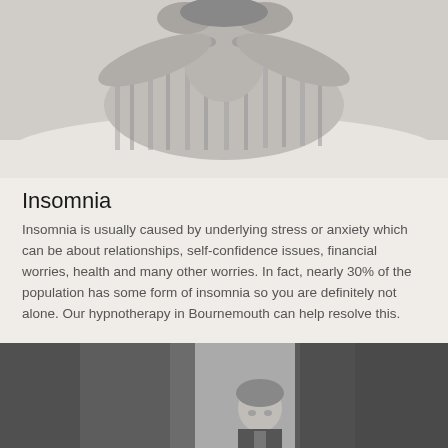[Figure (photo): Black and white photo of a person in striped pajamas lying down with both hands on their head, looking stressed or unable to sleep]
Insomnia
Insomnia is usually caused by underlying stress or anxiety which can be about relationships, self-confidence issues, financial worries, health and many other worries. In fact, nearly 30% of the population has some form of insomnia so you are definitely not alone. Our hypnotherapy in Bournemouth can help resolve this.
[Figure (photo): Black and white photo of a young child peeking through dark curtains or drapes, looking downward]